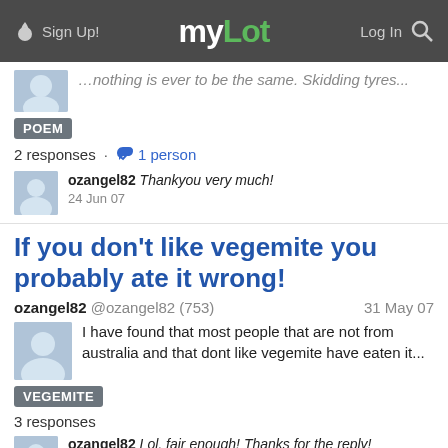Sign Up!  myLot  Log In
nothing is ever to be the same. Skidding tyres...
POEM
2 responses · 1 person
ozangel82 Thankyou very much! 24 Jun 07
If you don't like vegemite you probably ate it wrong!
ozangel82 @ozangel82 (753)  31 May 07
I have found that most people that are not from australia and that dont like vegemite have eaten it...
VEGEMITE
3 responses
ozangel82 Lol, fair enough! Thanks for the reply! 24 Jun 07
If you are a doer, appreciation for li...